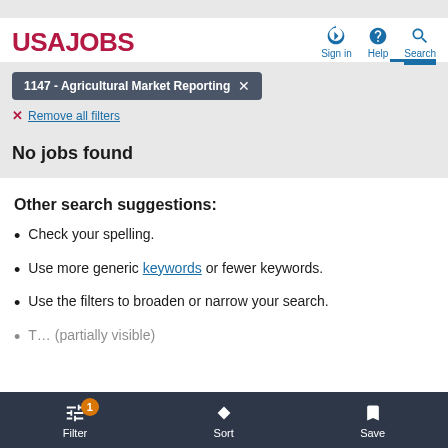USAJOBS — Sign in | Help | Search
1147 - Agricultural Market Reporting ×
× Remove all filters
No jobs found
Other search suggestions:
Check your spelling.
Use more generic keywords or fewer keywords.
Use the filters to broaden or narrow your search.
Filter (1 active) | Sort | Save